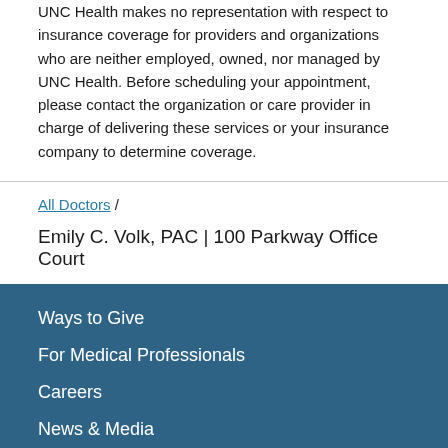UNC Health makes no representation with respect to insurance coverage for providers and organizations who are neither employed, owned, nor managed by UNC Health. Before scheduling your appointment, please contact the organization or care provider in charge of delivering these services or your insurance company to determine coverage.
All Doctors /
Emily C. Volk, PAC | 100 Parkway Office Court
Ways to Give
For Medical Professionals
Careers
News & Media
Contact Us